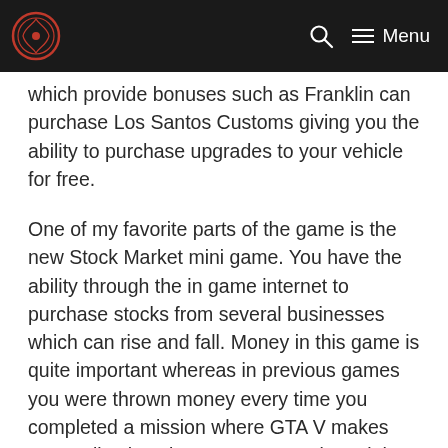Menu
which provide bonuses such as Franklin can purchase Los Santos Customs giving you the ability to purchase upgrades to your vehicle for free.
One of my favorite parts of the game is the new Stock Market mini game. You have the ability through the in game internet to purchase stocks from several businesses which can rise and fall. Money in this game is quite important whereas in previous games you were thrown money every time you completed a mission where GTA V makes you realize how important money is and the Stock Market is going to end up being your source of money making unless of course you